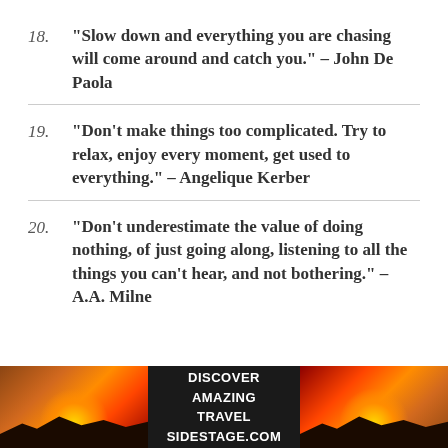18. “Slow down and everything you are chasing will come around and catch you.” – John De Paola
19. “Don’t make things too complicated. Try to relax, enjoy every moment, get used to everything.” – Angelique Kerber
20. “Don’t underestimate the value of doing nothing, of just going along, listening to all the things you can’t hear, and not bothering.” – A.A. Milne
[Figure (illustration): Advertisement banner for sidestage.com with sunset/landscape imagery on left and right, text 'DISCOVER AMAZING TRAVEL SIDESTAGE.COM' in center on dark background.]